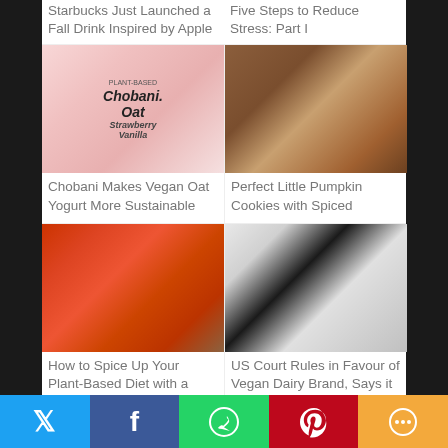Starbucks Just Launched a Fall Drink Inspired by Apple
Five Steps to Reduce Stress: Part I
[Figure (photo): Chobani Oat Strawberry Vanilla yogurt container in pink/white packaging]
[Figure (photo): Perfect little pumpkin cookies with spiced frosting on rustic background]
Chobani Makes Vegan Oat Yogurt More Sustainable
Perfect Little Pumpkin Cookies with Spiced
[Figure (photo): Hands holding a terracotta bowl of cherry tomatoes on grass background]
[Figure (photo): Woman hugging a large black and white dairy cow]
How to Spice Up Your Plant-Based Diet with a Kitchen
US Court Rules in Favour of Vegan Dairy Brand, Says it